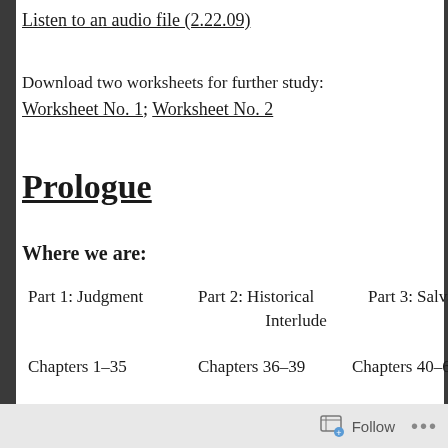Listen to an audio file (2.22.09)
Download two worksheets for further study:
Worksheet No. 1; Worksheet No. 2
Prologue
Where we are:
| Part 1: Judgment | Part 2: Historical Interlude | Part 3: Salvation |
| Chapters 1-35 | Chapters 36-39 | Chapters 40-66 |
When this takes place:
Follow ...